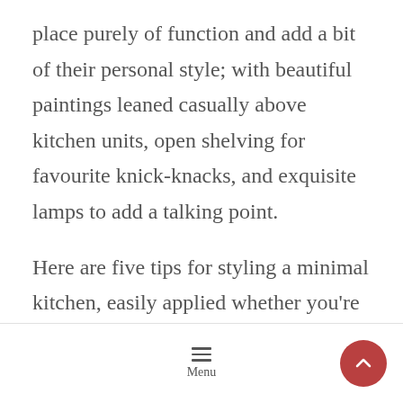place purely of function and add a bit of their personal style; with beautiful paintings leaned casually above kitchen units, open shelving for favourite knick-knacks, and exquisite lamps to add a talking point.
Here are five tips for styling a minimal kitchen, easily applied whether you're planning a complete kitchen renovation or are looking to give your home a mini makeover.
Menu